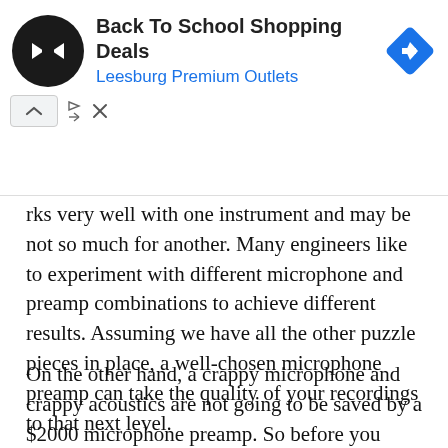[Figure (other): Advertisement banner for 'Back To School Shopping Deals' at Leesburg Premium Outlets. Shows a black circular logo with a double-arrow symbol, text, and a blue diamond navigation icon on the right. Below are ad control arrows and an X button.]
rks very well with one instrument and may be not so much for another. Many engineers like to experiment with different microphone and preamp combinations to achieve different results. Assuming we have all the other puzzle pieces in place, a well-chosen microphone preamp can take the quality of your recordings to that next level.
On the other hand, a crappy microphone and crappy acoustics are not going to be saved by a $2000 microphone preamp. So before you